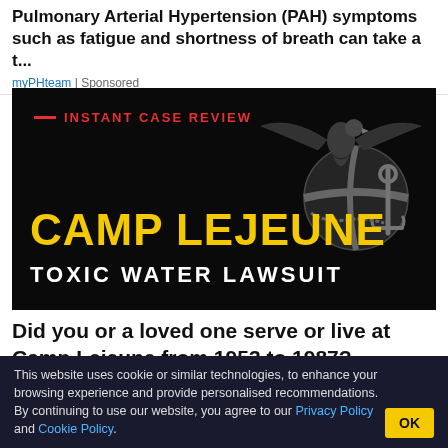Pulmonary Arterial Hypertension (PAH) symptoms such as fatigue and shortness of breath can take a t...
myPHteam | Sponsored
[Figure (photo): Camp Lejeune Toxic Water Lawsuit advertisement with Marine Corps eagle globe and anchor emblem on black background. Red text reads 'INSTANT CASE REVIEW', yellow bold text reads 'CAMP LEJEUNE', white bold text reads 'TOXIC WATER LAWSUIT'.]
Did you or a loved one serve or live at Camp Lejeune from 1953 to 1987?
This website uses cookie or similar technologies, to enhance your browsing experience and provide personalised recommendations. By continuing to use our website, you agree to our Privacy Policy and Cookie Policy.